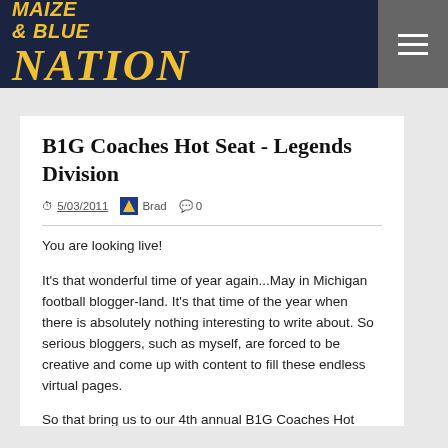MAIZE & BLUE NATION
B1G Coaches Hot Seat - Legends Division
5/03/2011  Brad  0
You are looking live!
It's that wonderful time of year again...May in Michigan football blogger-land. It's that time of the year when there is absolutely nothing interesting to write about. So serious bloggers, such as myself, are forced to be creative and come up with content to fill these endless virtual pages.
So that bring us to our 4th annual B1G Coaches Hot Seat [2008: Part 1, Part 2. 2009: Part 1, Part 2. 2010 Part 1, Part 2]. It's a fair, unbiased and hard look at the overall status of